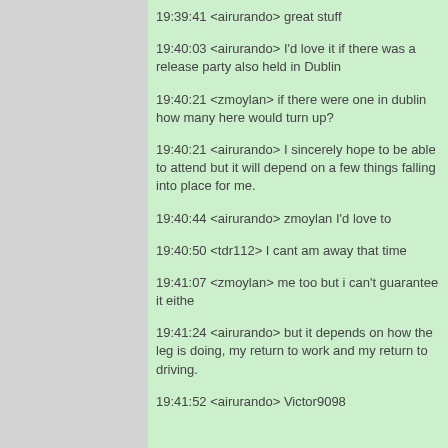19:39:41 <airurando> great stuff
19:40:03 <airurando> I'd love it if there was a release party also held in Dublin
19:40:21 <zmoylan> if there were one in dublin how many here would turn up?
19:40:21 <airurando> I sincerely hope to be able to attend but it will depend on a few things falling into place for me.
19:40:44 <airurando> zmoylan I'd love to
19:40:50 <tdr112> I cant am away that time
19:41:07 <zmoylan> me too but i can't guarantee it either
19:41:24 <airurando> but it depends on how the leg is doing, my return to work and my return to driving.
19:41:52 <airurando> Victor9098